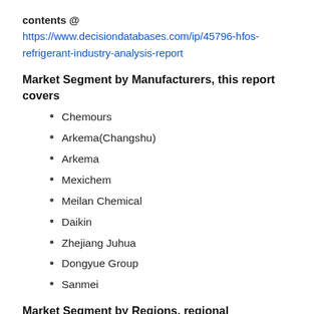contents @ https://www.decisiondatabases.com/ip/45796-hfos-refrigerant-industry-analysis-report
Market Segment by Manufacturers, this report covers
Chemours
Arkema(Changshu)
Arkema
Mexichem
Meilan Chemical
Daikin
Zhejiang Juhua
Dongyue Group
Sanmei
Market Segment by Regions, regional